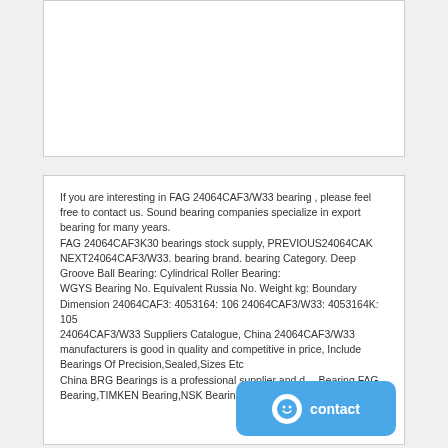[Figure (other): White empty box/image placeholder at top of page]
If you are interesting in FAG 24064CAF3/W33 bearing , please feel free to contact us. Sound bearing companies specialize in export bearing for many years.
FAG 24064CAF3K30 bearings stock supply, PREVIOUS24064CAK NEXT24064CAF3/W33. bearing brand. bearing Category. Deep Groove Ball Bearing: Cylindrical Roller Bearing:
WGYS Bearing No. Equivalent Russia No. Weight kg: Boundary Dimension 24064CAF3: 4053164: 106 24064CAF3/W33: 4053164K: 105
24064CAF3/W33 Suppliers Catalogue, China 24064CAF3/W33 manufacturers is good in quality and competitive in price, Include Bearings Of Precision,Sealed,Sizes Etc
China BRG Bearings is a professional supplier and distributor of SKF Bearing,FAG Bearing,TIMKEN Bearing,NSK Bearing,INA Bearing,